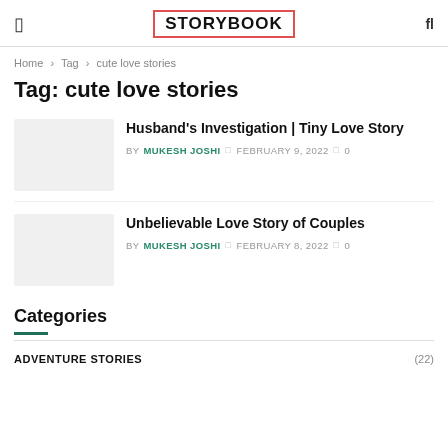STORYBOOK
Home › Tag › cute love stories
Tag: cute love stories
Husband's Investigation | Tiny Love Story BY MUKESH JOSHI  FEBRUARY 9, 2022  0
Unbelievable Love Story of Couples BY MUKESH JOSHI  FEBRUARY 8, 2022  0
Categories
ADVENTURE STORIES (22)